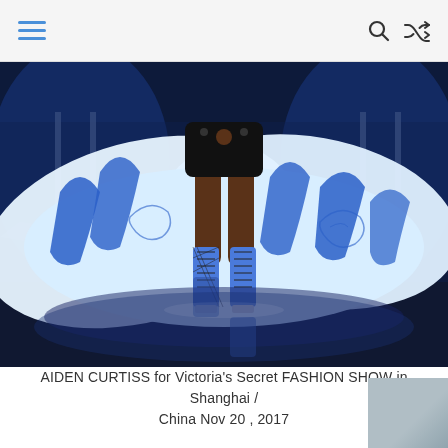☰ [hamburger menu] [search icon] [shuffle icon]
[Figure (photo): A model walking the Victoria's Secret Fashion Show runway in Shanghai, wearing a dramatic blue and white striped gown with blue lace-up thigh-high boots. The dress fans out widely on the reflective runway stage.]
AIDEN CURTISS for Victoria's Secret FASHION SHOW in Shanghai / China Nov 20 , 2017